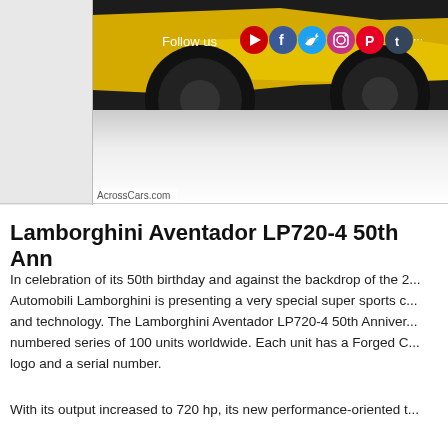[Figure (photo): A yellow Lamborghini Aventador LP720-4 sports car partially visible at the top, against a light background. A social media follow bar is overlaid at the top with icons for YouTube, Facebook, Twitter, Instagram, Pinterest, Tumblr, Flickr, Mix, and WeIt. Watermark reads AcrossCars.com.]
Lamborghini Aventador LP720-4 50th Ann...
In celebration of its 50th birthday and against the backdrop of the 2... Automobili Lamborghini is presenting a very special super sports c... and technology. The Lamborghini Aventador LP720-4 50th Anniver... numbered series of 100 units worldwide. Each unit has a Forged C... logo and a serial number.
With its output increased to 720 hp, its new performance-oriented t... ...inted also being into this Aventador is f...